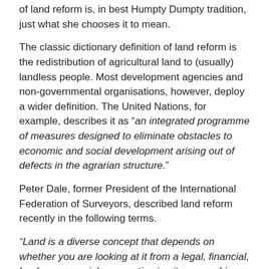of land reform is, in best Humpty Dumpty tradition, just what she chooses it to mean.
The classic dictionary definition of land reform is the redistribution of agricultural land to (usually) landless people. Most development agencies and non-governmental organisations, however, deploy a wider definition. The United Nations, for example, describes it as “an integrated programme of measures designed to eliminate obstacles to economic and social development arising out of defects in the agrarian structure.”
Peter Dale, former President of the International Federation of Surveyors, described land reform recently in the following terms.
“Land is a diverse concept that depends on whether you are looking at it from a legal, financial, land use or social perspective i.e. its ownership, value or use. Reform may concern the changing of land rights (land tenure reform), the redistribution of ownership or use rights (including land consolidation and land